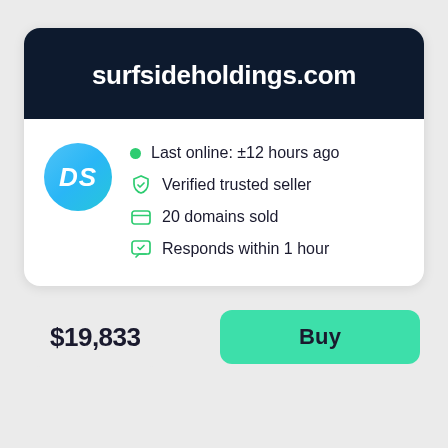surfsideholdings.com
Last online: ±12 hours ago
Verified trusted seller
20 domains sold
Responds within 1 hour
$19,833
Buy